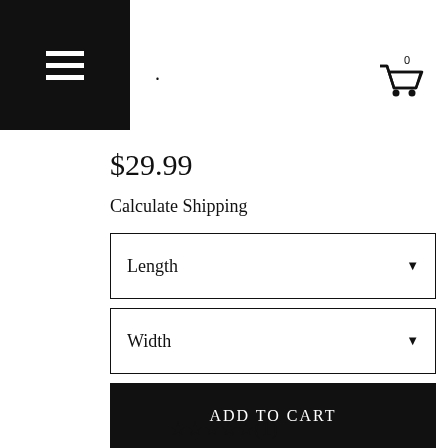· 0
$29.99
Calculate Shipping
Length
Width
ADD TO CART
★★★★★(1)
ASK A QUESTION